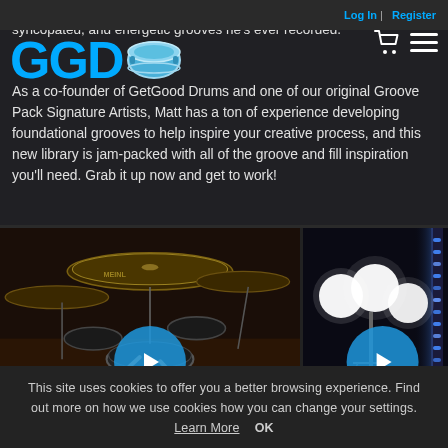Log In | Register
l, Matt jumped back into the studio to lay dow most driving, syncopated, and energetic grooves he's ever recorded.
[Figure (logo): GGD logo with drum icon]
As a co-founder of GetGood Drums and one of our original Groove Pack Signature Artists, Matt has a ton of experience developing foundational grooves to help inspire your creative process, and this new library is jam-packed with all of the groove and fill inspiration you'll need. Grab it up now and get to work!
[Figure (photo): Overhead view of drum kit with cymbals, with blue play button overlay]
[Figure (photo): Studio lighting setup with bright lights and drum kit visible, with blue play button overlay]
This site uses cookies to offer you a better browsing experience. Find out more on how we use cookies how you can change your settings. Learn More  OK